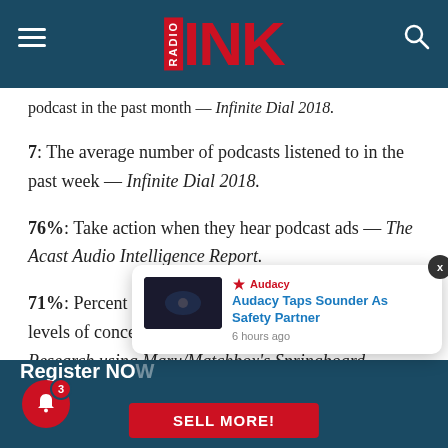Radio Ink
podcast in the past month — Infinite Dial 2018.
7: The average number of podcasts listened to in the past week — Infinite Dial 2018.
76%: Take action when they hear podcast ads — The Acast Audio Intelligence Report.
71%: Percent of podcast listeners indicating high levels of concentration when listening — IAB Research using Maru/Matchbox's Springboard America Online Panel, A18+ January 2018.
Register NOW — SELL MORE! | Audacy Taps Sounder As Safety Partner — 6 hours ago